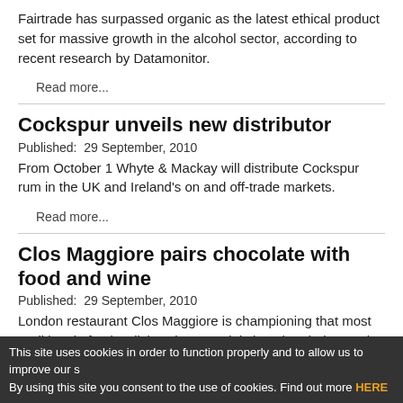Fairtrade has surpassed organic as the latest ethical product set for massive growth in the alcohol sector, according to recent research by Datamonitor.
Read more...
Cockspur unveils new distributor
Published:  29 September, 2010
From October 1 Whyte & Mackay will distribute Cockspur rum in the UK and Ireland's on and off-trade markets.
Read more...
Clos Maggiore pairs chocolate with food and wine
Published:  29 September, 2010
London restaurant Clos Maggiore is championing that most traditional of aphrodisiacs in a special chocolate-laden tasting menu designed to coincide with National Chocolate Week.
This site uses cookies in order to function properly and to allow us to improve our s By using this site you consent to the use of cookies. Find out more HERE